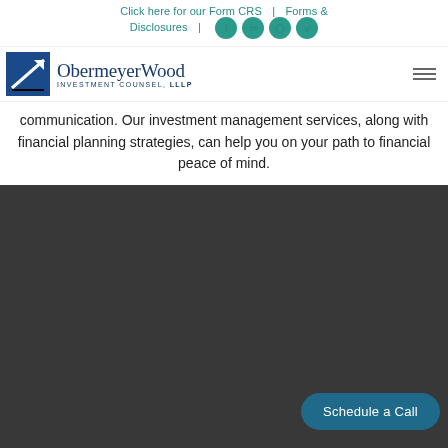Click here for our Form CRS | Forms & Disclosures
[Figure (logo): ObermeyerWood Investment Counsel, LLLP logo with blue square icon and navigation hamburger menu]
communication. Our investment management services, along with financial planning strategies, can help you on your path to financial peace of mind.
[Figure (screenshot): Dark gray section with a teal 'Schedule a Call' button in the lower right]